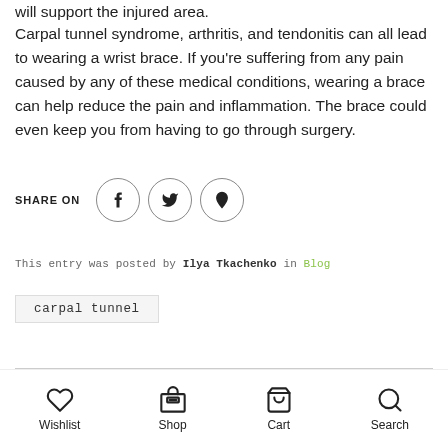will support the injured area.
Carpal tunnel syndrome, arthritis, and tendonitis can all lead to wearing a wrist brace. If you're suffering from any pain caused by any of these medical conditions, wearing a brace can help reduce the pain and inflammation. The brace could even keep you from having to go through surgery.
SHARE ON (Facebook, Twitter, Pinterest icons)
This entry was posted by Ilya Tkachenko in Blog
carpal tunnel
Wishlist  Shop  Cart  Search